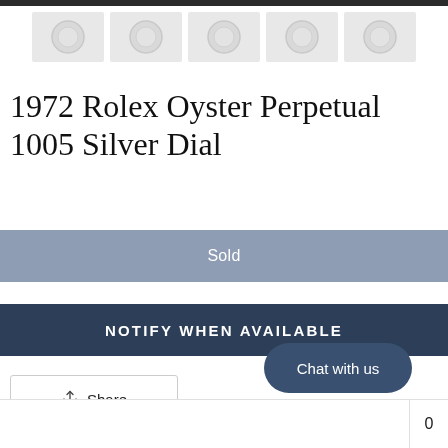[Figure (photo): Thumbnail strip showing 5 watch photos (Rolex Oyster Perpetual) in a horizontal row at top of page]
1972 Rolex Oyster Perpetual 1005 Silver Dial
Sold
NOTIFY WHEN AVAILABLE
Share
Chat with us
Add to Wishlist
0